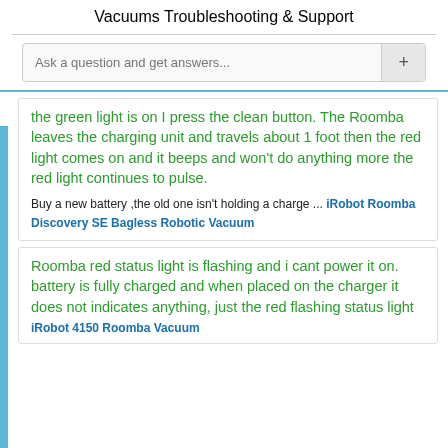Vacuums
Troubleshooting & Support
Ask a question and get answers...
the green light is on I press the clean button. The Roomba leaves the charging unit and travels about 1 foot then the red light comes on and it beeps and won't do anything more the red light continues to pulse.
Buy a new battery ,the old one isn't holding a charge ... iRobot Roomba Discovery SE Bagless Robotic Vacuum
Roomba red status light is flashing and i cant power it on. battery is fully charged and when placed on the charger it does not indicates anything, just the red flashing status light
iRobot 4150 Roomba Vacuum